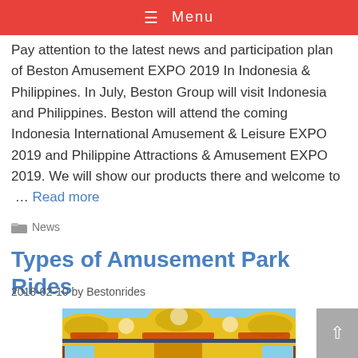Menu
Pay attention to the latest news and participation plan of Beston Amusement EXPO 2019 In Indonesia & Philippines. In July, Beston Group will visit Indonesia and Philippines. Beston will attend the coming Indonesia International Amusement & Leisure EXPO 2019 and Philippine Attractions & Amusement EXPO 2019. We will show our products there and welcome to … Read more
News
Types of Amusement Park Rides
2018-02-10 by Bestonrides
[Figure (photo): Colorful amusement park carousel ride with yellow, red, and blue decorative canopy top, viewed from below at an angle against a blue sky.]